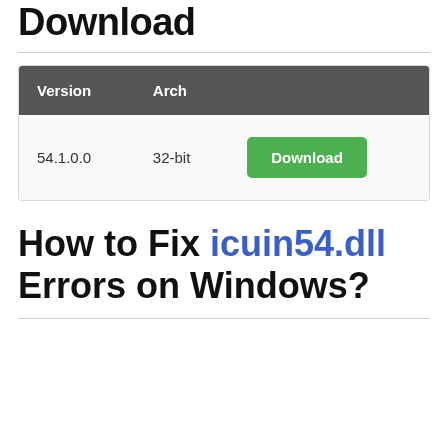Download
| Version | Arch |
| --- | --- |
| 54.1.0.0 | 32-bit | Download |
How to Fix icuin54.dll Errors on Windows?